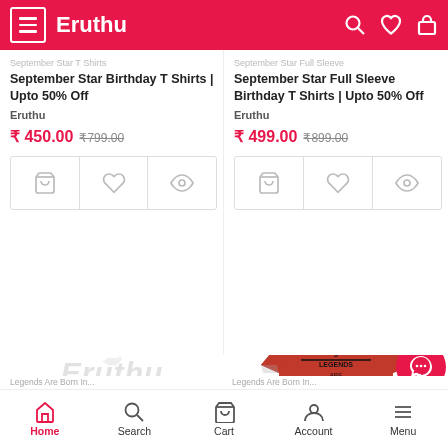Eruthu
September Star Birthday T Shirts | Upto 50% Off
Eruthu
₹ 450.00  ₹799.00
September Star Full Sleeve Birthday T Shirts | Upto 50% Off
Eruthu
₹ 499.00  ₹899.00
[Figure (logo): Eruthu brand watermark with bull silhouette and 'Eruthu' text in grey]
[Figure (photo): Red sweatshirt with 'Legends Are Born in September' typography print]
Home  Search  Cart  Account  Menu